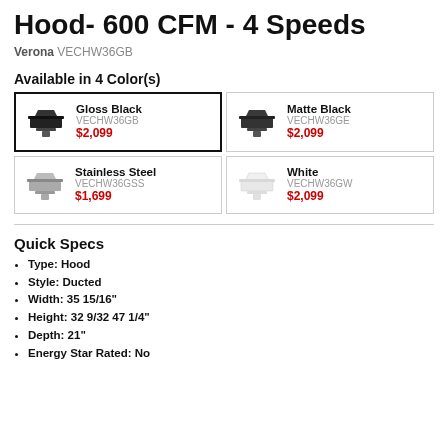Hood- 600 CFM - 4 Speeds
Verona VECHW36GB
Available in 4 Color(s)
| Color | SKU | Price |
| --- | --- | --- |
| Gloss Black | VECHW36GB | $2,099 |
| Matte Black | VECHW36GE | $2,099 |
| Stainless Steel | VECHW36GSS | $1,699 |
| White | VECHW36GW | $2,099 |
Quick Specs
Type: Hood
Style: Ducted
Width: 35 15/16"
Height: 32 9/32 47 1/4"
Depth: 21"
Energy Star Rated: No